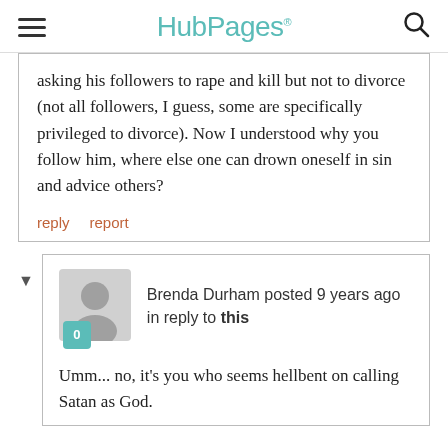HubPages
asking his followers to rape and kill but not to divorce (not all followers, I guess, some are specifically privileged to divorce). Now I understood why you follow him, where else one can drown oneself in sin and advice others?
reply   report
Brenda Durham posted 9 years ago in reply to this
Umm... no, it's you who seems hellbent on calling Satan as God.